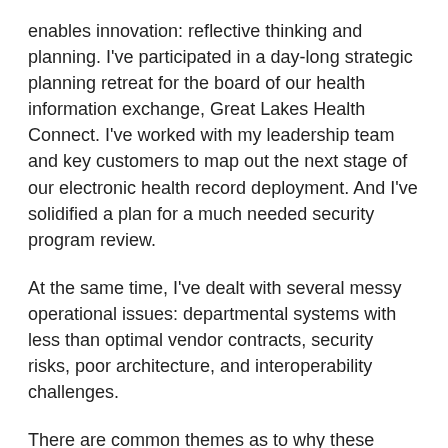enables innovation: reflective thinking and planning. I've participated in a day-long strategic planning retreat for the board of our health information exchange, Great Lakes Health Connect. I've worked with my leadership team and key customers to map out the next stage of our electronic health record deployment. And I've solidified a plan for a much needed security program review.
At the same time, I've dealt with several messy operational issues: departmental systems with less than optimal vendor contracts, security risks, poor architecture, and interoperability challenges.
There are common themes as to why these operational issues persist:
It's not clear who owns the problem and who is accountable for it